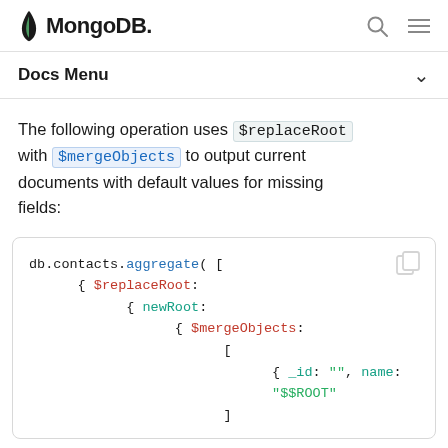MongoDB
Docs Menu
The following operation uses $replaceRoot with $mergeObjects to output current documents with default values for missing fields:
db.contacts.aggregate( [
      { $replaceRoot:
            { newRoot:
                  { $mergeObjects:
                        [
                              { _id: "", name:
                              "$$ROOT"
                        ]
                  }